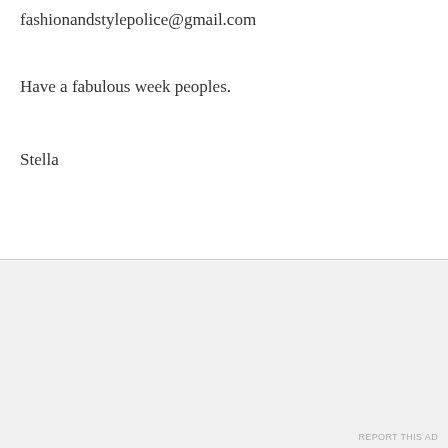fashionandstylepolice@gmail.com
Have a fabulous week peoples.
Stella
We use cookies on our website to give you the most relevant experience by remembering your preferences and repeat visits. By clicking “Accept All”, you consent to the use of ALL the cookies. However, you may visit "Cookie Settings" to provide a controlled consent.
Advertisements
REPORT THIS AD